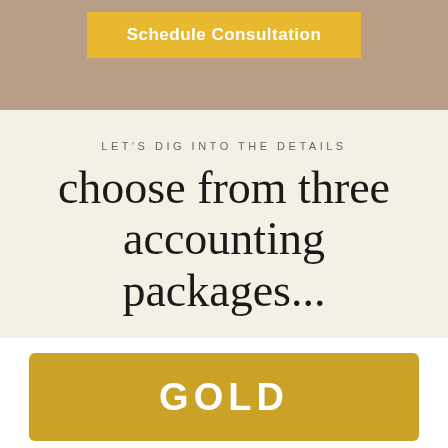Schedule Consultation
LET'S DIG INTO THE DETAILS
choose from three accounting packages...
GOLD